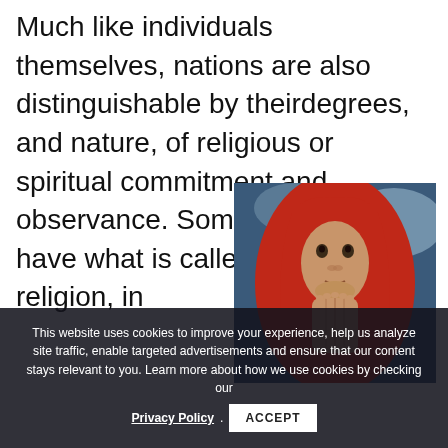Much like individuals themselves, nations are also distinguishable by theirdegrees, and nature, of religious or spiritual commitment and observance. Some countries have what is called a state religion, in where all daily religious life is prescribed by their creed, and characterized by their own, yet rich and diverse religious practices, but other
[Figure (photo): A man wearing a red hood, hands pressed together in prayer, looking upward against a blurred background.]
This website uses cookies to improve your experience, help us analyze site traffic, enable targeted advertisements and ensure that our content stays relevant to you. Learn more about how we use cookies by checking our Privacy Policy. ACCEPT